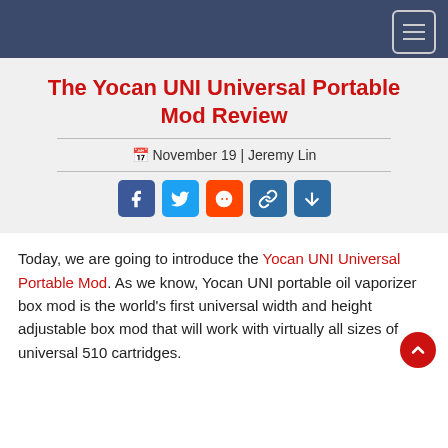The Yocan UNI Universal Portable Mod Review
November 19 | Jeremy Lin
[Figure (infographic): Social share buttons: Facebook, Twitter, Reddit, Link, Share]
Today, we are going to introduce the Yocan UNI Universal Portable Mod. As we know, Yocan UNI portable oil vaporizer box mod is the world's first universal width and height adjustable box mod that will work with virtually all sizes of universal 510 cartridges.